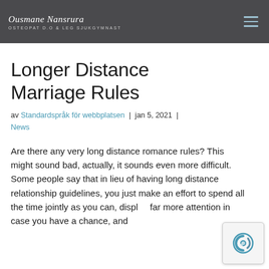Ousmane Nansrura OSTEOPAT D.O & LEG SJUKGYMNAST
Longer Distance Marriage Rules
av Standardspråk för webbplatsen | jan 5, 2021 | News
Are there any very long distance romance rules? This might sound bad, actually, it sounds even more difficult. Some people say that in lieu of having long distance relationship guidelines, you just make an effort to spend all the time jointly as you can, display far more attention in case you have a chance, and